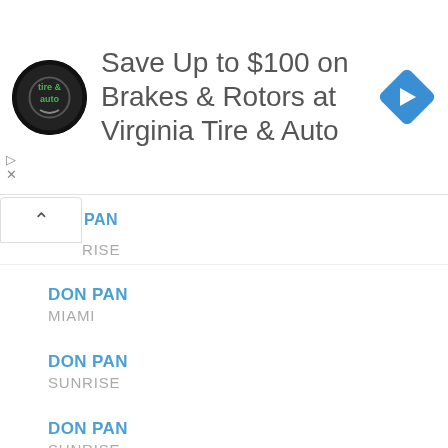[Figure (infographic): Advertisement banner: Virginia Tire & Auto logo (circular black logo), text 'Save Up to $100 on Brakes & Rotors at Virginia Tire & Auto', and a blue navigation arrow icon on the right.]
PAN / RISE
DON PAN / MIAMI
DON PAN / SUNRISE
DON PAN / SUNRISE
DON PAN GABLES, INC. / CORAL GABLES
DON PAN HIALEAH 585, LLC / HIALEAH